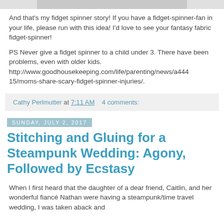[Figure (photo): Partial image at top of page, cropped]
And that's my fidget spinner story! If you have a fidget-spinner-fan in your life, please run with this idea! I'd love to see your fantasy fabric fidget-spinner!
PS Never give a fidget spinner to a child under 3. There have been problems, even with older kids. http://www.goodhousekeeping.com/life/parenting/news/a44415/moms-share-scary-fidget-spinner-injuries/.
Cathy Perlmutter at 7:11 AM    4 comments:
Sunday, July 2, 2017
Stitching and Gluing for a Steampunk Wedding: Agony, Followed by Ecstasy
When I first heard that the daughter of a dear friend, Caitlin, and her wonderful fiancé Nathan were having a steampunk/time travel wedding, I was taken aback and